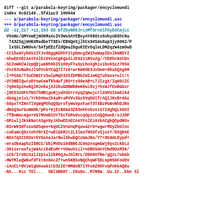[Figure (screenshot): A git diff output showing changes to parabola-keyring/packager/encyclomundi.asc, with file headers in black/blue and removed lines (starting with -) in red monospace text.]